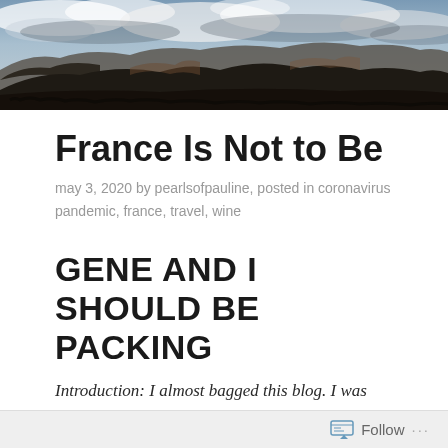[Figure (photo): Landscape header photo showing desert mountains and mesas under a cloudy sky, dark and moody tones]
France Is Not to Be
may 3, 2020 by pearlsofpauline, posted in coronavirus pandemic, france, travel, wine
GENE AND I SHOULD BE PACKING
Introduction: I almost bagged this blog. I was concerned that I might sound insensitive to what's going on in the world. So I slept on it, and decided this morning that we all need
Follow ...